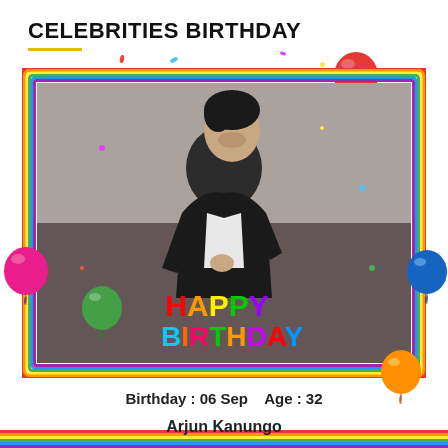CELEBRITIES BIRTHDAY
[Figure (photo): Photo of Arjun Kanungo posing against a brick wall wearing a black jacket, with colorful Happy Birthday text overlay and balloons decoration with rainbow border frame]
Birthday : 06 Sep    Age : 32
Arjun Kanungo